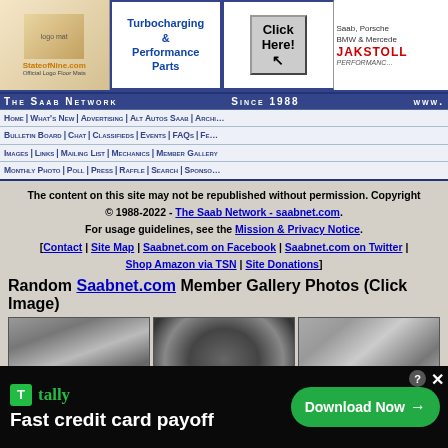[Figure (screenshot): Banner advertisement row with StateofNine.com logo floor mats ad, Turbocharging & Performance Parts ad, Click Here button ad, and JakStoll Performance ad for Saab Porsche BMW & Mercedes]
[Figure (screenshot): The Saab Network navigation bar with links: Home, What's New, Advertising, Alt Autos Saab, Archives, Bulletin Board, Chat, Classifieds, Events, FAQs, Features, Images, Links, Mailing List, Mechanics, Member Gallery, Monthly Photo, Poll, Press, Raffle, Search, Sponsors. Since 1988 www.saabnet.com]
The content on this site may not be republished without permission. Copyright © 1988-2022 - The Saab Network - saabnet.com. For usage guidelines, see the Mission & Privacy Notice. [Contact | Site Map | Saabnet.com on Facebook | Saabnet.com on Twitter | Shop Amazon via TSN | Site Donations]
Random Saabnet.com Member Gallery Photos (Click Image)
[Figure (photo): Three Saab car interior photos showing dashboard, instrument cluster with gauges, and steering wheel]
[Figure (screenshot): Tally advertisement overlay: Fast credit card payoff - Download Now button]